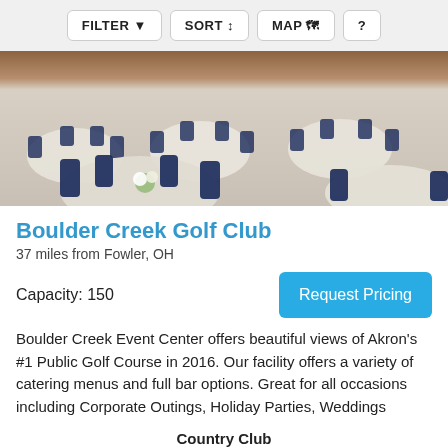FILTER  SORT  MAP  ?
[Figure (photo): Banquet hall with round tables covered in white tablecloths and navy blue chair sashes, with floral centerpieces, set up for an event.]
Boulder Creek Golf Club
37 miles from Fowler, OH
Capacity: 150
Request Pricing
Boulder Creek Event Center offers beautiful views of Akron's #1 Public Golf Course in 2016. Our facility offers a variety of catering menus and full bar options. Great for all occasions including Corporate Outings, Holiday Parties, Weddings
Country Club
⚡ Fast Response